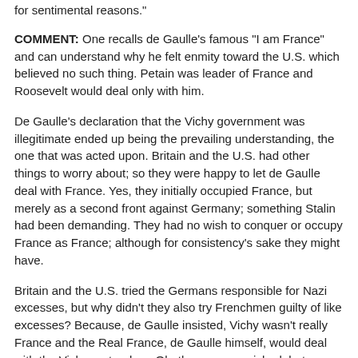for sentimental reasons."
COMMENT: One recalls de Gaulle's famous "I am France" and can understand why he felt enmity toward the U.S. which believed no such thing. Petain was leader of France and Roosevelt would deal only with him.
De Gaulle's declaration that the Vichy government was illegitimate ended up being the prevailing understanding, the one that was acted upon. Britain and the U.S. had other things to worry about; so they were happy to let de Gaulle deal with France. Yes, they initially occupied France, but merely as a second front against Germany; something Stalin had been demanding. They had no wish to conquer or occupy France as France; although for consistency's sake they might have.
Britain and the U.S. tried the Germans responsible for Nazi excesses, but why didn't they also try Frenchmen guilty of like excesses? Because, de Gaulle insisted, Vichy wasn't really France and the Real France, de Gaulle himself, would deal with the Vichy pretenders. Oh, they were punished, but as collaborators, not representatives of an official French